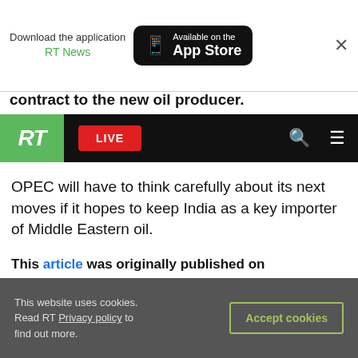[Figure (screenshot): App download banner: 'Download the application RT News' with App Store button and close X]
contract to the new oil producer.
[Figure (screenshot): RT website navigation bar with RT logo (green), LIVE button (red), search and hamburger menu icons]
OPEC will have to think carefully about its next moves if it hopes to keep India as a key importer of Middle Eastern oil.
This article was originally published on Oilprice.com
You can share this story on social media:
[Figure (infographic): Social sharing icons: Twitter, Reddit, Telegram, WhatsApp, VK, Email, Link]
This website uses cookies. Read RT Privacy policy to find out more.